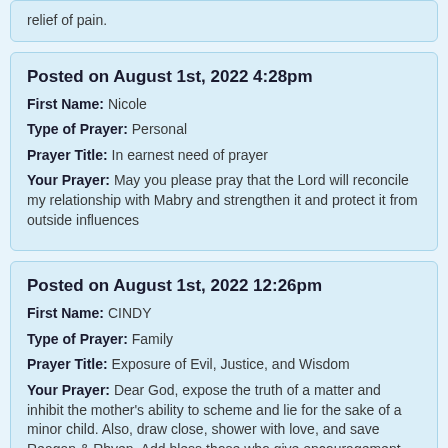relief of pain.
Posted on August 1st, 2022 4:28pm
First Name: Nicole
Type of Prayer: Personal
Prayer Title: In earnest need of prayer
Your Prayer: May you please pray that the Lord will reconcile my relationship with Mabry and strengthen it and protect it from outside influences
Posted on August 1st, 2022 12:26pm
First Name: CINDY
Type of Prayer: Family
Prayer Title: Exposure of Evil, Justice, and Wisdom
Your Prayer: Dear God, expose the truth of a matter and inhibit the mother's ability to scheme and lie for the sake of a minor child. Also, draw close, shower with love, and save Reagan & Rhyen. Add bless those who give encouragement from faithful